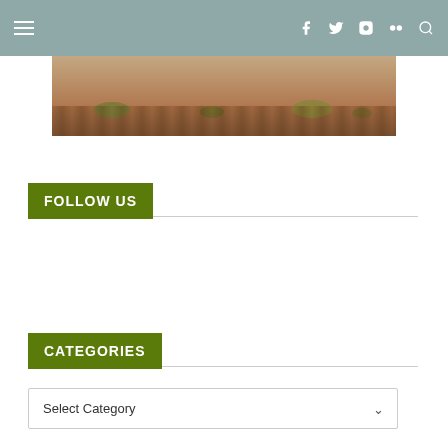Navigation bar with hamburger menu and social icons (Facebook, Twitter, Instagram, Flickr, Search)
[Figure (photo): Desert landscape photograph showing dry red/brown soil with sparse shrubs and dry grass]
FOLLOW US
CATEGORIES
Select Category